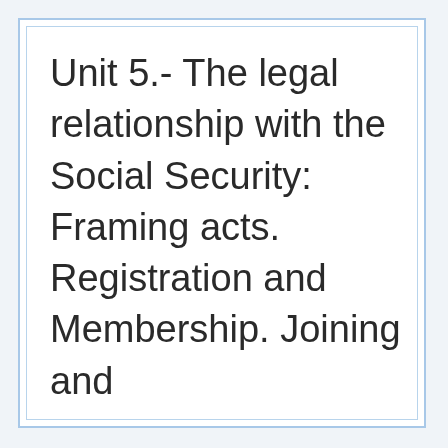Unit 5.- The legal relationship with the Social Security: Framing acts. Registration and Membership. Joining and